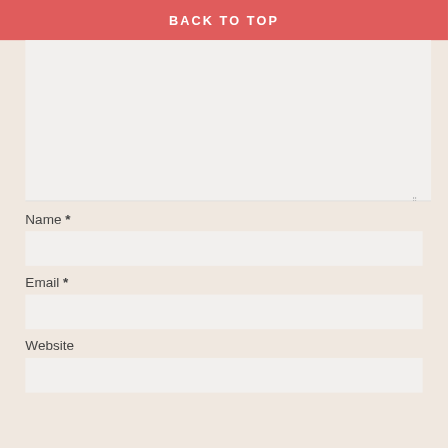BACK TO TOP
[Figure (other): Large light gray textarea/comment input box with resize handle at bottom right]
Name *
[Figure (other): Name input field, light gray background]
Email *
[Figure (other): Email input field, light gray background]
Website
[Figure (other): Website input field, light gray background, partially visible]